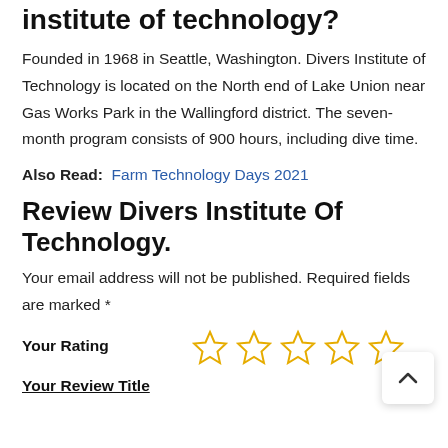institute of technology?
Founded in 1968 in Seattle, Washington. Divers Institute of Technology is located on the North end of Lake Union near Gas Works Park in the Wallingford district. The seven-month program consists of 900 hours, including dive time.
Also Read:  Farm Technology Days 2021
Review Divers Institute Of Technology.
Your email address will not be published. Required fields are marked *
Your Rating  ☆☆☆☆☆
Your Review Title